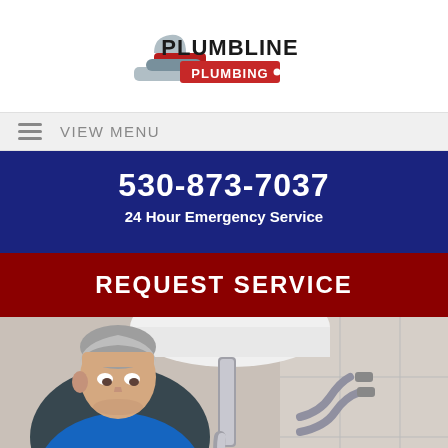[Figure (logo): Plumbline Plumbing logo with wrench icon, company name in bold black text with red accent banner]
VIEW MENU
530-873-7037
24 Hour Emergency Service
REQUEST SERVICE
[Figure (photo): A middle-aged man with gray hair wearing a blue shirt, leaning under a white bathroom sink inspecting the chrome plumbing pipes and connections]